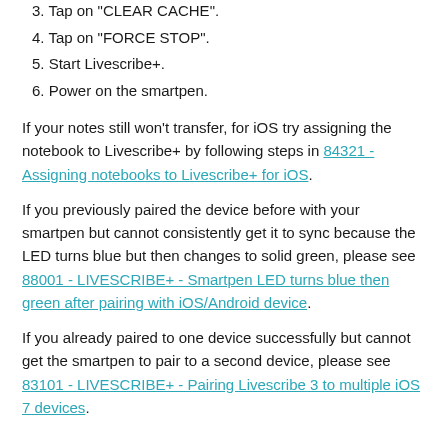3. Tap on "CLEAR CACHE".
4. Tap on "FORCE STOP".
5. Start Livescribe+.
6. Power on the smartpen.
If your notes still won't transfer, for iOS try assigning the notebook to Livescribe+ by following steps in 84321 - Assigning notebooks to Livescribe+ for iOS.
If you previously paired the device before with your smartpen but cannot consistently get it to sync because the LED turns blue but then changes to solid green, please see 88001 - LIVESCRIBE+ - Smartpen LED turns blue then green after pairing with iOS/Android device.
If you already paired to one device successfully but cannot get the smartpen to pair to a second device, please see 83101 - LIVESCRIBE+ - Pairing Livescribe 3 to multiple iOS 7 devices.